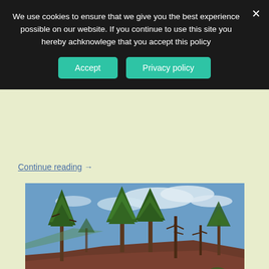We use cookies to ensure that we give you the best experience possible on our website. If you continue to use this site you hereby achknowlege that you accept this policy
Accept   Privacy policy
Continue reading →
[Figure (photo): Photograph of pine trees on a hillside with reddish-brown soil and blue sky with clouds in the background]